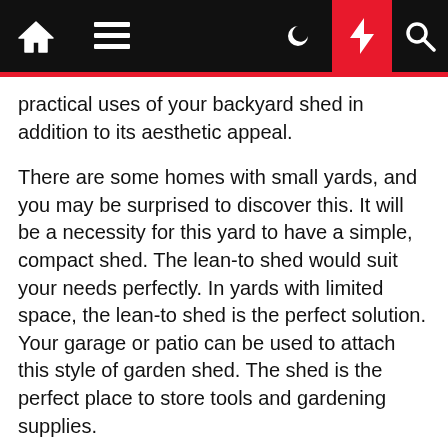Navigation bar with home, menu, moon, bolt, and search icons
practical uses of your backyard shed in addition to its aesthetic appeal.
There are some homes with small yards, and you may be surprised to discover this. It will be a necessity for this yard to have a simple, compact shed. The lean-to shed would suit your needs perfectly. In yards with limited space, the lean-to shed is the perfect solution. Your garage or patio can be used to attach this style of garden shed. The shed is the perfect place to store tools and gardening supplies.
Despite the low pitch of the roof, the lean-to shed is completely open. Although the roof may be flat, a pitched roof is more resistant to rain and snow damage.